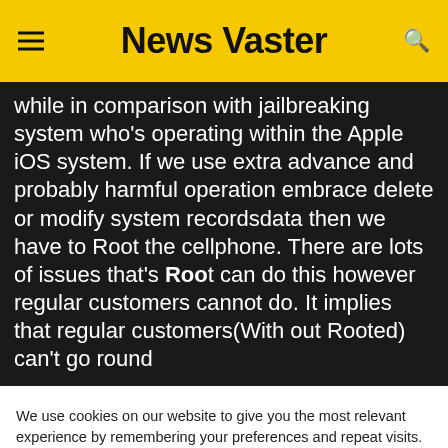News Vaster
while in comparison with jailbreaking system who's operating within the Apple iOS system. If we use extra advance and probably harmful operation embrace delete or modify system recordsdata then we have to Root the cellphone. There are lots of issues that's Root can do this however regular customers cannot do. It implies that regular customers(With out Rooted) can't go round
We use cookies on our website to give you the most relevant experience by remembering your preferences and repeat visits. By clicking “Accept All”, you consent to the use of ALL the cookies. However, you may visit "Cookie Settings" to provide a controlled consent.
Cookie Settings | Accept All